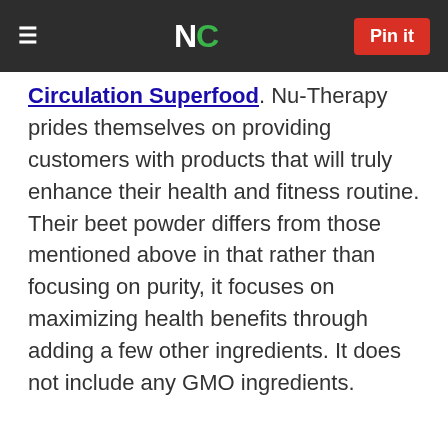≡  NC  Pin it
Circulation Superfood. Nu-Therapy prides themselves on providing customers with products that will truly enhance their health and fitness routine. Their beet powder differs from those mentioned above in that rather than focusing on purity, it focuses on maximizing health benefits through adding a few other ingredients. It does not include any GMO ingredients.